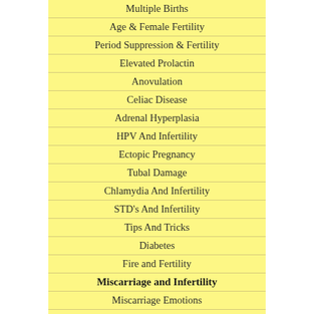Multiple Births
Age & Female Fertility
Period Suppression & Fertility
Elevated Prolactin
Anovulation
Celiac Disease
Adrenal Hyperplasia
HPV And Infertility
Ectopic Pregnancy
Tubal Damage
Chlamydia And Infertility
STD's And Infertility
Tips And Tricks
Diabetes
Fire and Fertility
Miscarriage and Infertility
Miscarriage Emotions
Older Eggs